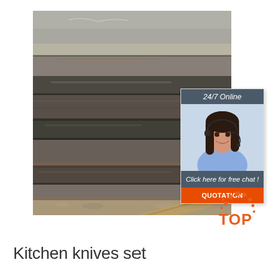[Figure (photo): Stack of steel/metal plates or sheets piled outdoors on gravel ground, showing layered dark metallic surfaces with rust marks]
[Figure (infographic): Chat widget overlay with dark header '24/7 Online', photo of female customer service representative with headset, dark section 'Click here for free chat!', and orange 'QUOTATION' button]
[Figure (logo): TOP logo with orange/dotted arc above the word TOP in orange text]
Kitchen knives set